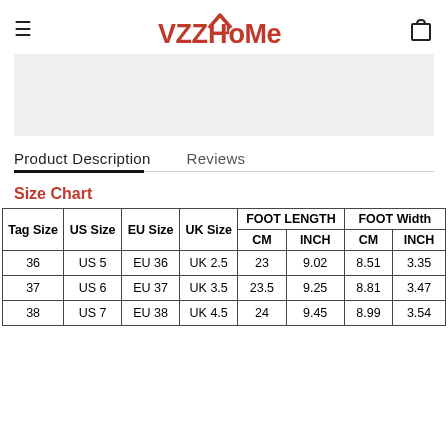VZZHoMe
[Figure (photo): Gray placeholder image area]
Product Description    Reviews
Size Chart
| Tag Size | US Size | EU Size | UK Size | FOOT LENGTH CM | FOOT LENGTH INCH | FOOT Width CM | FOOT Width INCH |
| --- | --- | --- | --- | --- | --- | --- | --- |
| 36 | US 5 | EU 36 | UK 2.5 | 23 | 9.02 | 8.51 | 3.35 |
| 37 | US 6 | EU 37 | UK 3.5 | 23.5 | 9.25 | 8.81 | 3.47 |
| 38 | US 7 | EU 38 | UK 4.5 | 24 | 9.45 | 8.99 | 3.54 |